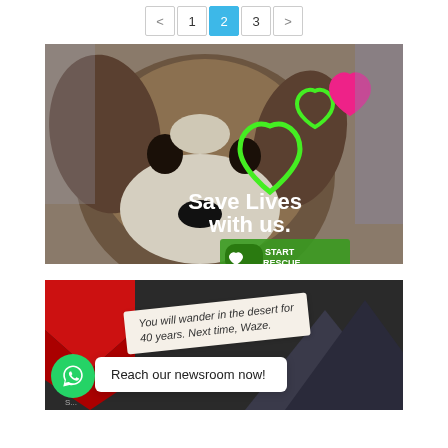< 1 2 3 >
[Figure (photo): Close-up photo of a puppy with brown and tan fur, with overlaid green and pink heart graphics. Text reads 'Save Lives with us. START RESCUE STARTrescue.org']
[Figure (screenshot): Screenshot showing a fortune-cookie style message 'You will wander in the desert for 40 years. Next time, Waze.' with a WhatsApp icon and popup message 'Reach our newsroom now!']